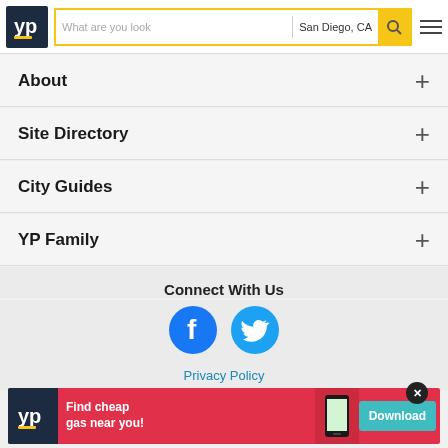YP - What are you looking for? San Diego, CA
About
Site Directory
City Guides
YP Family
Connect With Us
[Figure (infographic): Facebook and Twitter social media icons]
Privacy Policy
[Figure (infographic): YP app advertisement banner: Find cheap gas near you! Download button]